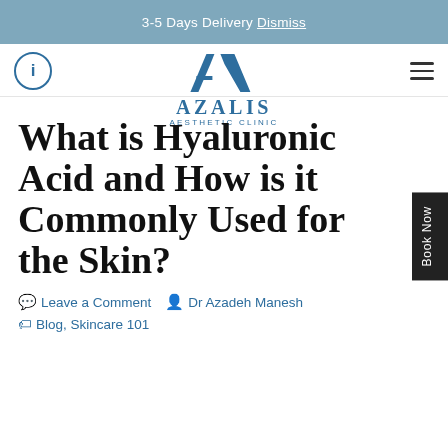3-5 Days Delivery  Dismiss
[Figure (logo): Azalis Aesthetic Clinic logo with stylized 'A' mark and text AZALIS AESTHETIC CLINIC in blue]
What is Hyaluronic Acid and How is it Commonly Used for the Skin?
Leave a Comment   Dr Azadeh Manesh
Blog, Skincare 101
[Figure (logo): WhatsApp green phone icon button]